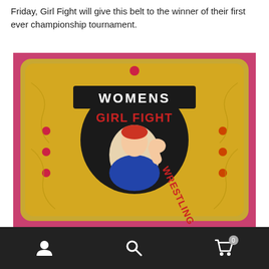Friday, Girl Fight will give this belt to the winner of their first ever championship tournament.
[Figure (photo): A pink wrestling championship belt with gold face plate, featuring 'WOMENS' banner at top and 'GIRL FIGHT WRESTLING' text surrounding a Rosie the Riveter-style figure in the center medallion, decorated with red gemstones]
Navigation bar with user account icon, search icon, and cart icon with badge showing 0